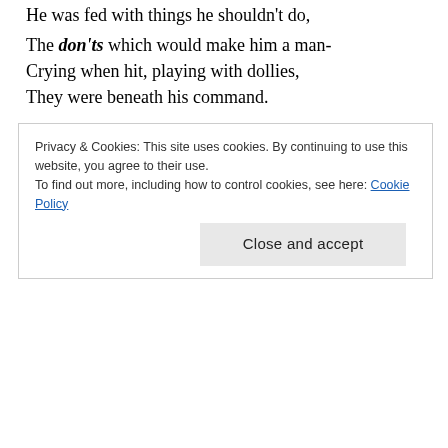He was fed with things he shouldn't do,
The don'ts which would make him a man-
Crying when hit, playing with dollies,
They were beneath his command.
He was born at a time when society,
Imposed on him right from the start;
Displaying emotions was weakness,
And strength was a sign of men’s pride.
[Figure (other): Purple/violet colored advertisement banner]
REPORT THIS AD
Privacy & Cookies: This site uses cookies. By continuing to use this website, you agree to their use.
To find out more, including how to control cookies, see here: Cookie Policy
Close and accept